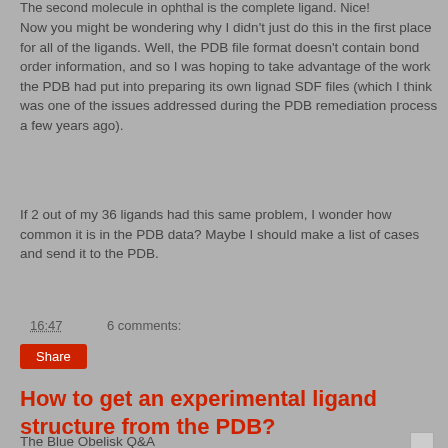The second molecule in ophthal is the complete ligand. Nice!
Now you might be wondering why I didn't just do this in the first place for all of the ligands. Well, the PDB file format doesn't contain bond order information, and so I was hoping to take advantage of the work the PDB had put into preparing its own lignad SDF files (which I think was one of the issues addressed during the PDB remediation process a few years ago).
If 2 out of my 36 ligands had this same problem, I wonder how common it is in the PDB data? Maybe I should make a list of cases and send it to the PDB.
16:47   6 comments:
How to get an experimental ligand structure from the PDB?
The Blue Obelisk Q&A